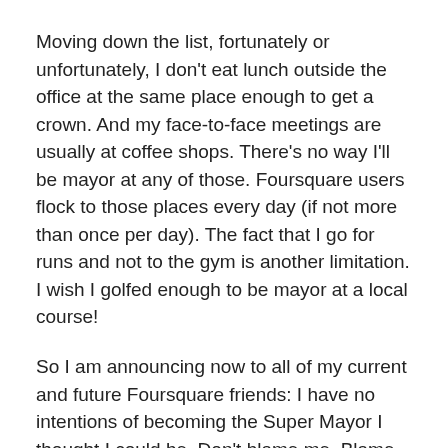Moving down the list, fortunately or unfortunately, I don't eat lunch outside the office at the same place enough to get a crown. And my face-to-face meetings are usually at coffee shops. There's no way I'll be mayor at any of those. Foursquare users flock to those places every day (if not more than once per day). The fact that I go for runs and not to the gym is another limitation. I wish I golfed enough to be mayor at a local course!
So I am announcing now to all of my current and future Foursquare friends: I have no intentions of becoming the Super Mayor I thought I could be. Don't blame me. Blame my comfy desk in my office.